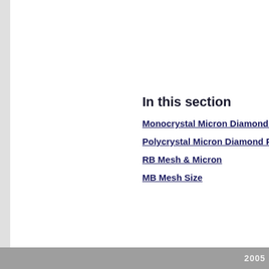In this section
Monocrystal Micron Diamond Po...
Polycrystal Micron Diamond Po...
RB Mesh & Micron
MB Mesh Size
2005